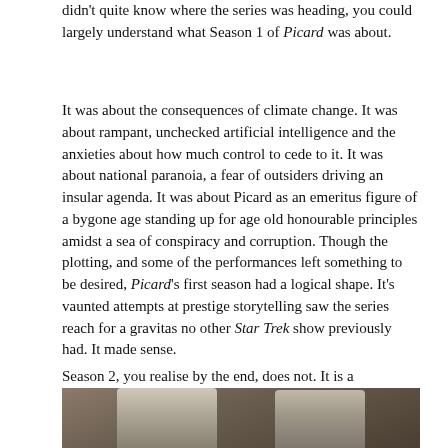didn't quite know where the series was heading, you could largely understand what Season 1 of Picard was about.
It was about the consequences of climate change. It was about rampant, unchecked artificial intelligence and the anxieties about how much control to cede to it. It was about national paranoia, a fear of outsiders driving an insular agenda. It was about Picard as an emeritus figure of a bygone age standing up for age old honourable principles amidst a sea of conspiracy and corruption. Though the plotting, and some of the performances left something to be desired, Picard's first season had a logical shape. It's vaunted attempts at prestige storytelling saw the series reach for a gravitas no other Star Trek show previously had. It made sense.
Season 2, you realise by the end, does not. It is a foundation that looks firmer than it actually is. Everything is stacked on a very wobbly pile of cards which, by the finale, collapses completely.
[Figure (photo): Two men standing together — one with silver hair wearing a dark turtleneck and suit jacket, the other bald in casual attire, both appearing to be in an outdoor or semi-outdoor setting with stone architecture in the background.]